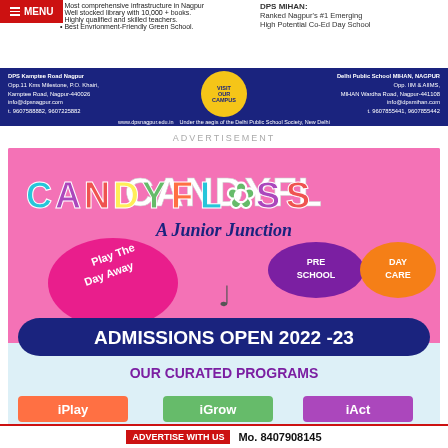Most comprehensive infrastructure in Nagpur
Well stocked library with 10,000 + books.
Highly qualified and skilled teachers.
Best Environment-Friendly Green School.
DPS MIHAN: Ranked Nagpur's #1 Emerging High Potential Co-Ed Day School
DPS Kamptee Road Nagpur
Opp.11 Kms Milestone, P.O. Khairi,
Kamptee Road, Nagpur-440026
info@dpsnagpur.com
t. 9607588882, 9607225882
VISIT OUR CAMPUS
www.dpsnagpur.edu.in
Delhi Public School MIHAN, NAGPUR
Opp. IIM & AIIMS,
MIHAN Wardha Road, Nagpur-441108
info@dpsmihan.com
t. 9607855441, 9607855442
Under the aegis of the Delhi Public School Society, New Delhi
ADVERTISEMENT
[Figure (illustration): Candyfloss A Junior Junction advertisement. Pink background with colorful text CANDYFLOSS, A Junior Junction subtitle, Play The Day Away in pink cloud, PRE SCHOOL and DAY CARE bubbles, ADMISSIONS OPEN 2022-23 banner in dark blue, OUR CURATED PROGRAMS heading, iPlay, iGrow, iAct program labels at bottom.]
ADVERTISE WITH US  Mo. 8407908145